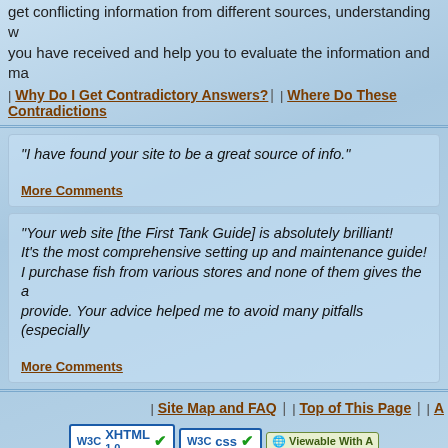get conflicting information from different sources, understanding w... you have received and help you to evaluate the information and ma...
| Why Do I Get Contradictory Answers? | | Where Do These Contradictions
"I have found your site to be a great source of info."
More Comments
"Your web site [the First Tank Guide] is absolutely brilliant! It's the most comprehensive setting up and maintenance guide! I purchase fish from various stores and none of them gives the a... provide. Your advice helped me to avoid many pitfalls (especially...
More Comments
| Site Map and FAQ | | Top of This Page | | A...
[Figure (logo): W3C XHTML 1.0 validation badge]
[Figure (logo): W3C CSS validation badge]
[Figure (logo): Viewable With Any browser badge]